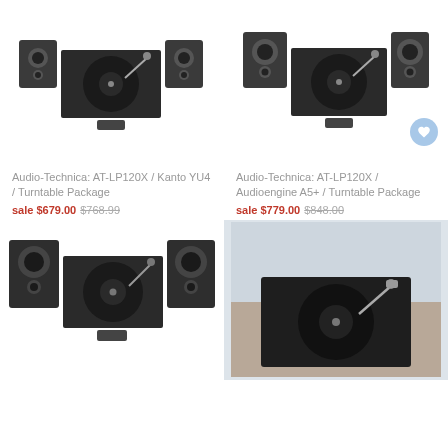[Figure (photo): Turntable package with two speakers - Audio-Technica AT-LP120X with Kanto YU4 speakers, left product]
[Figure (photo): Turntable package with two speakers - Audio-Technica AT-LP120X with Audioengine A5+ speakers, right product with wishlist heart button]
Audio-Technica: AT-LP120X / Kanto YU4 / Turntable Package
sale $679.00 $768.99
Audio-Technica: AT-LP120X / Audioengine A5+ / Turntable Package
sale $779.00 $848.00
[Figure (photo): Turntable package with two speakers - third product, bottom left]
[Figure (photo): Single turntable on wooden surface, bottom right, light blue/grey background]